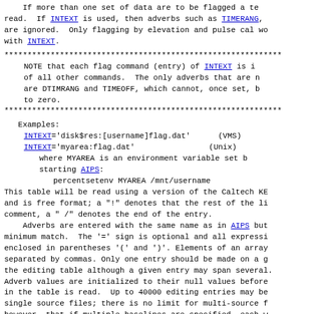If more than one set of data are to be flagged a te read. If INTEXT is used, then adverbs such as TIMERANG, are ignored. Only flagging by elevation and pulse cal wo with INTEXT.
NOTE that each flag command (entry) of INTEXT is i of all other commands. The only adverbs that are n are DTIMRANG and TIMEOFF, which cannot, once set, b to zero.
Examples:
  INTEXT='disk$res:[username]flag.dat'    (VMS)
  INTEXT='myarea:flag.dat'               (Unix)
    where MYAREA is an environment variable set b starting AIPS:
      percentsetenv MYAREA /mnt/username
This table will be read using a version of the Caltech KE and is free format; a "!" denotes that the rest of the li comment, a " /" denotes the end of the entry.
    Adverbs are entered with the same name as in AIPS but minimum match. The '=' sign is optional and all expressi enclosed in parentheses '(' and ')'. Elements of an array separated by commas. Only one entry should be made on a g the editing table although a given entry may span several. Adverb values are initialized to their null values before in the table is read. Up to 40000 editing entries may be single source files; there is no limit for multi-source f however, that if multiple baselines are specified, each w one of the 40000 entries.